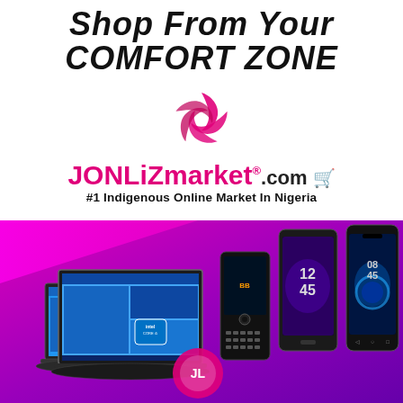Shop From Your COMFORT ZONE
[Figure (logo): JONLiZmarket spinning swirl logo in pink/magenta]
JONLiZmarket®.com
#1 Indigenous Online Market In Nigeria
[Figure (illustration): Purple/magenta banner background with laptops, smartphones, BlackBerry phone and other electronics displayed]